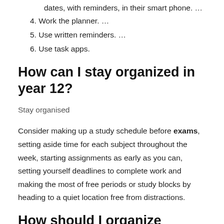3. Encourage your teenager to schedule due dates, with reminders, in their smart phone. …
4. Work the planner. …
5. Use written reminders. …
6. Use task apps.
How can I stay organized in year 12?
Stay organised
Consider making up a study schedule before exams, setting aside time for each subject throughout the week, starting assignments as early as you can, setting yourself deadlines to complete work and making the most of free periods or study blocks by heading to a quiet location free from distractions.
How should I organize myself